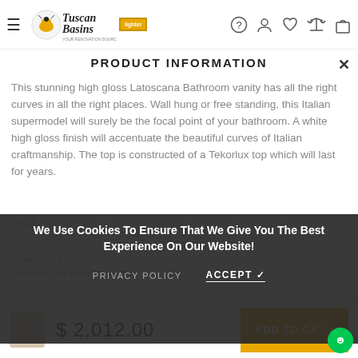Tuscan Basins - navigation header with logo and icons
PRODUCT INFORMATION
This stunning high gloss Latoscana Bathroom vanity has all the right curves in all the right places. Wall hung or free standing, this Italian supermodel will surely be the focal point of your bathroom. A white high gloss finish will accentuate the beautiful curves of Italian craftmanship. The top is constructed of a Tekorlux top which will last for years.
We Use Cookies To Ensure That We Give You The Best Experience On Our Website!
PRIVACY POLICY   ACCEPT ✓
OA3...
Oasi 39" Vanity
Two (2) soft cl...
Tekorlux sink top with overflow
$ 2,012.00
ADD TO CART